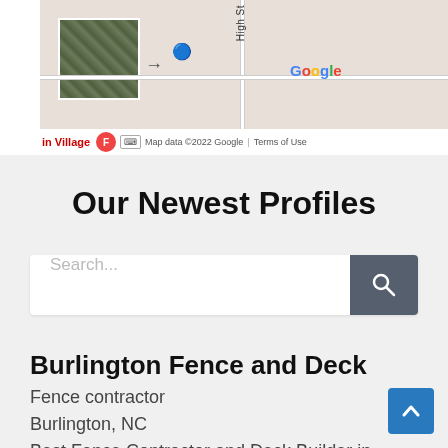[Figure (screenshot): Google Maps screenshot showing a street map with High St and S Pearl St visible, a satellite thumbnail in the upper left, Google logo, and map data attribution bar at bottom reading 'in Village', keyboard icon, 'Map data ©2022 Google', 'Terms of Use']
Our Newest Profiles
[Figure (screenshot): Search bar with placeholder text 'Search...' and a dark gray search button with magnifying glass icon]
Burlington Fence and Deck
Fence contractor
Burlington, NC
Best Fence Contractor and Deck Builder in